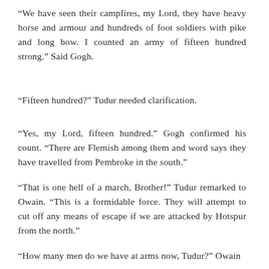“We have seen their campfires, my Lord, they have heavy horse and armour and hundreds of foot soldiers with pike and long bow.  I counted an army of fifteen hundred strong.” Said Gogh.
“Fifteen hundred?”  Tudur needed clarification.
“Yes, my Lord, fifteen hundred.”  Gogh confirmed his count. “There are Flemish among them and word says they have travelled from Pembroke in the south.”
“That is one hell of a march, Brother!”  Tudur remarked to Owain.  “This is a formidable force.  They will attempt to cut off any means of escape if we are attacked by Hotspur from the north.”
“How many men do we have at arms now, Tudur?”  Owain